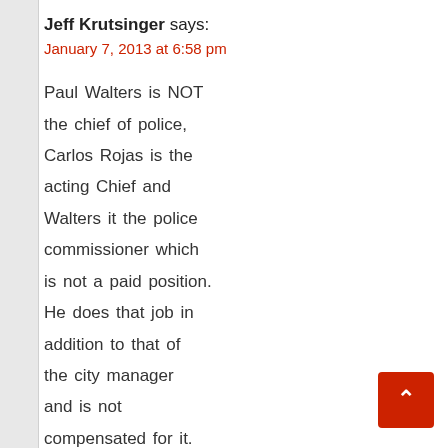Jeff Krutsinger says:
January 7, 2013 at 6:58 pm
Paul Walters is NOT the chief of police, Carlos Rojas is the acting Chief and Walters it the police commissioner which is not a paid position. He does that job in addition to that of the city manager and is not compensated for it. Let his record stand